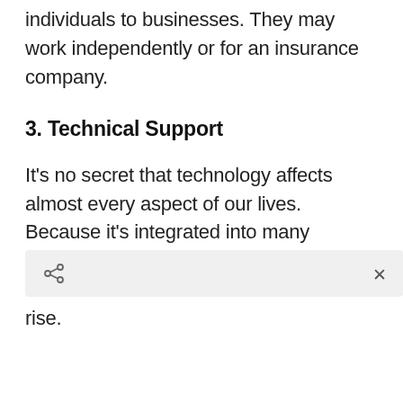policies for a wide range of clients, from individuals to businesses. They may work independently or for an insurance company.
3. Technical Support
It's no secret that technology affects almost every aspect of our lives. Because it's integrated into many aspects of our daily lives, jobs available in consumer services are now on the rise.